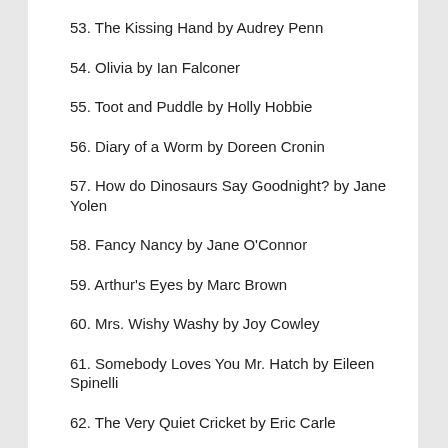53. The Kissing Hand by Audrey Penn
54. Olivia by Ian Falconer
55. Toot and Puddle by Holly Hobbie
56. Diary of a Worm by Doreen Cronin
57. How do Dinosaurs Say Goodnight? by Jane Yolen
58. Fancy Nancy by Jane O'Connor
59. Arthur's Eyes by Marc Brown
60. Mrs. Wishy Washy by Joy Cowley
61. Somebody Loves You Mr. Hatch by Eileen Spinelli
62. The Very Quiet Cricket by Eric Carle